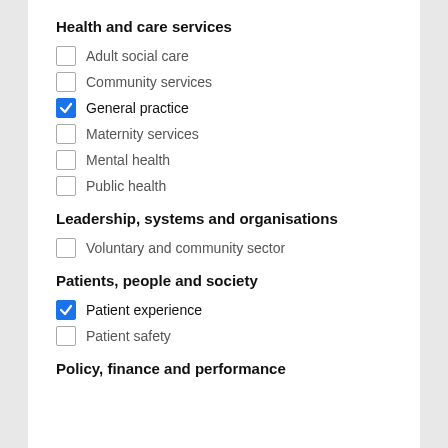Health and care services
Adult social care (unchecked)
Community services (unchecked)
General practice (checked)
Maternity services (unchecked)
Mental health (unchecked)
Public health (unchecked)
Leadership, systems and organisations
Voluntary and community sector (unchecked)
Patients, people and society
Patient experience (checked)
Patient safety (unchecked)
Policy, finance and performance